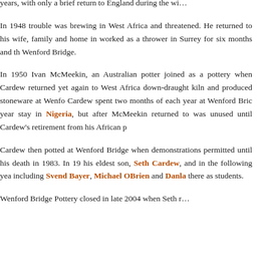years, with only a brief return to England during the wi...
In 1948 trouble was brewing in West Africa and threatened. He returned to his wife, family and home in worked as a thrower in Surrey for six months and th Wenford Bridge.
In 1950 Ivan McMeekin, an Australian potter joined as a pottery when Cardew returned yet again to West Africa down-draught kiln and produced stoneware at Wenfo Cardew spent two months of each year at Wenford Bric year stay in Nigeria, but after McMeekin returned to was unused until Cardew's retirement from his African p
Cardew then potted at Wenford Bridge when demonstrations permitted until his death in 1983. In 19 his eldest son, Seth Cardew, and in the following yea including Svend Bayer, Michael OBrien and Danla there as students.
Wenford Bridge Pottery closed in late 2004 when Seth r